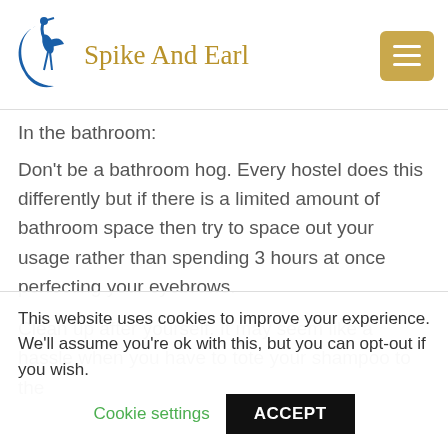Spike And Earl
In the bathroom:
Don't be a bathroom hog. Every hostel does this differently but if there is a limited amount of bathroom space then try to space out your usage rather than spending 3 hours at once perfecting your eyebrows.
Clean up after yourself. It may seem like a hassle when you have to tote your shampoo to the
This website uses cookies to improve your experience. We'll assume you're ok with this, but you can opt-out if you wish.
Cookie settings
ACCEPT